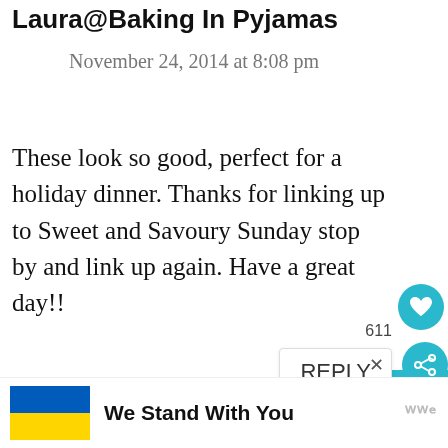Laura@Baking In Pyjamas
November 24, 2014 at 8:08 pm
These look so good, perfect for a holiday dinner. Thanks for linking up to Sweet and Savoury Sunday stop by and link up again. Have a great day!!
[Figure (infographic): Social share sidebar with Pinterest (606), Facebook (4), email icon buttons in teal/blue]
[Figure (infographic): Heart/like button (teal circle with heart icon)]
611
[Figure (infographic): Share icon button (teal circle with share icon)]
REPLY
[Figure (infographic): Ukraine flag (blue over yellow rectangle) with text 'We Stand With You' and close X button and wwe logo]
We Stand With You